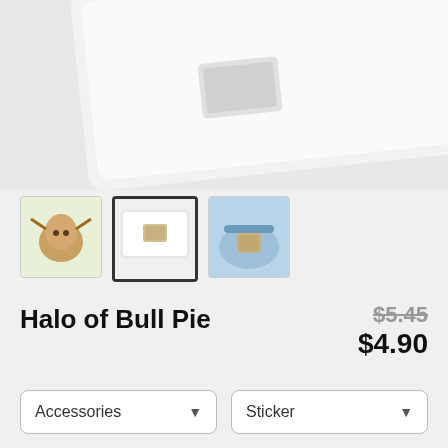[Figure (photo): Main product image showing a sticker on a laptop, white laptop partially visible, product image cropped at top]
[Figure (photo): Three product thumbnail images: 1) bull/highland cow illustration, 2) sticker on laptop (selected/highlighted), 3) sticker on light blue fanny pack]
Halo of Bull Pie
$5.45 (strikethrough original price) $4.90 (sale price)
Accessories dropdown, Sticker dropdown
COLOR